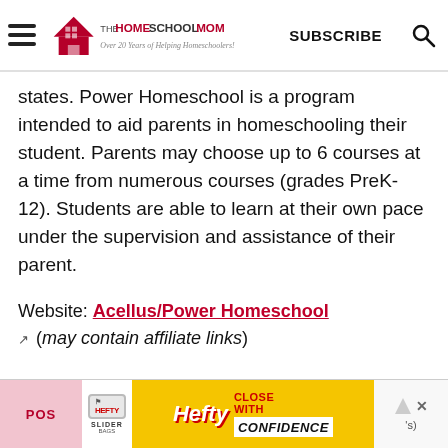[Figure (logo): TheHomeSchoolMom logo with house icon and tagline 'Over 20 Years of Helping Homeschoolers!']
states. Power Homeschool is a program intended to aid parents in homeschooling their student. Parents may choose up to 6 courses at a time from numerous courses (grades PreK-12). Students are able to learn at their own pace under the supervision and assistance of their parent.
Website: Acellus/Power Homeschool ↗ (may contain affiliate links)
[Figure (infographic): Hefty Slider Bags advertisement - Close With Confidence]